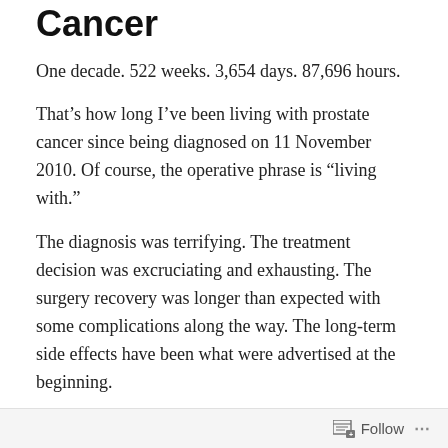Cancer
One decade. 522 weeks. 3,654 days. 87,696 hours.
That’s how long I’ve been living with prostate cancer since being diagnosed on 11 November 2010. Of course, the operative phrase is “living with.”
The diagnosis was terrifying. The treatment decision was excruciating and exhausting. The surgery recovery was longer than expected with some complications along the way. The long-term side effects have been what were advertised at the beginning.
On the positive side, there were 54 months of undetectable PSA results to indicate the surgery had done the trick. Or so we thought.
Follow